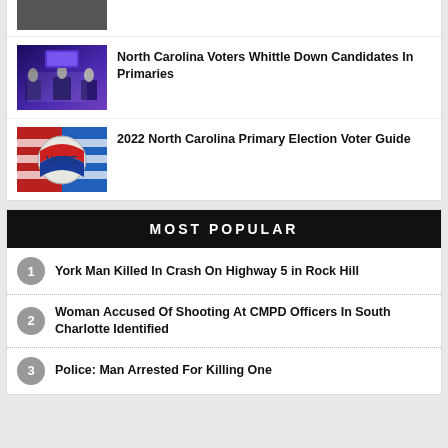[Figure (photo): Thumbnail of people at podiums in a debate setting with purple lighting and TV screens]
North Carolina Voters Whittle Down Candidates In Primaries
[Figure (photo): Close-up of a red, white and blue VOTE button/badge]
2022 North Carolina Primary Election Voter Guide
MOST POPULAR
York Man Killed In Crash On Highway 5 in Rock Hill
Woman Accused Of Shooting At CMPD Officers In South Charlotte Identified
Police: Man Arrested For Killing One